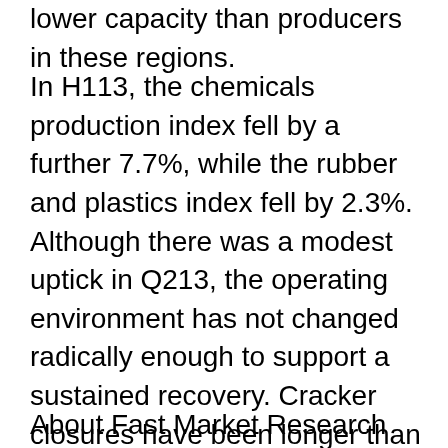lower capacity than producers in these regions.
In H113, the chemicals production index fell by a further 7.7%, while the rubber and plastics index fell by 2.3%. Although there was a modest uptick in Q213, the operating environment has not changed radically enough to support a sustained recovery. Cracker closures have been longer than expected, partly due to market conditions. Repsol has yet to announce a restart of its Puertollano cracker, following closure due to a fire in July 2013. An unplanned stoppage at Dow's Tarragona cracker over the first half of September has exacerbated supply tightness.
About Fast Market Research